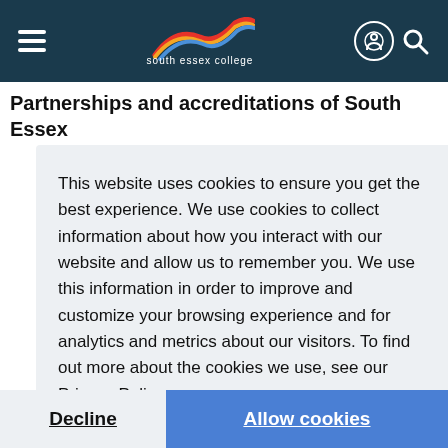south essex college
Partnerships and accreditations of South Essex
This website uses cookies to ensure you get the best experience. We use cookies to collect information about how you interact with our website and allow us to remember you. We use this information in order to improve and customize your browsing experience and for analytics and metrics about our visitors. To find out more about the cookies we use, see our Privacy Policy.
Learn more
Decline
Allow cookies